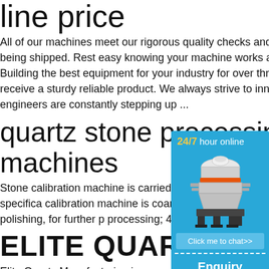line price
All of our machines meet our rigorous quality checks and are field tested before being shipped. Rest easy knowing your machine works as hard as you do. Building the best equipment for your industry for over three decades ensures you receive a sturdy reliable product. We always strive to innovate. Our team of engineers are constantly stepping up ...
quartz stone processing machines
Stone calibration machine is carried out on thickness, guarantee unified plate specifica calibration machine is coarse grinding mac marble surface after polishing, for further p processing; 4)The samples of
ELITE QUARTZ | HOM
Elite Quartz Manufacturing is a new 360,00 manufacturing plant based in Latta, South C to become the largest producer of quartz co America. The company is a joint venture be
[Figure (infographic): 24/7 hour online chat widget with image of a cone crusher machine, a 'Click me to chat>>' button, an 'Enquiry' section, and 'limingjlmofen' text at the bottom on a blue background.]